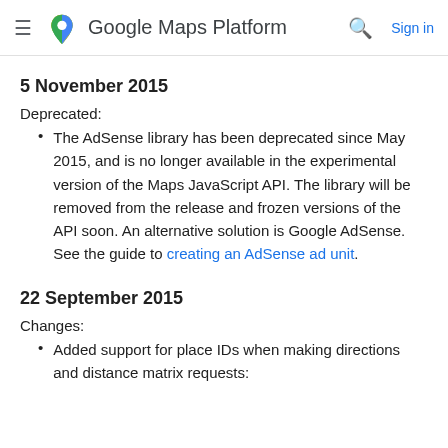Google Maps Platform  Sign in
5 November 2015
Deprecated:
The AdSense library has been deprecated since May 2015, and is no longer available in the experimental version of the Maps JavaScript API. The library will be removed from the release and frozen versions of the API soon. An alternative solution is Google AdSense. See the guide to creating an AdSense ad unit.
22 September 2015
Changes:
Added support for place IDs when making directions and distance matrix requests: